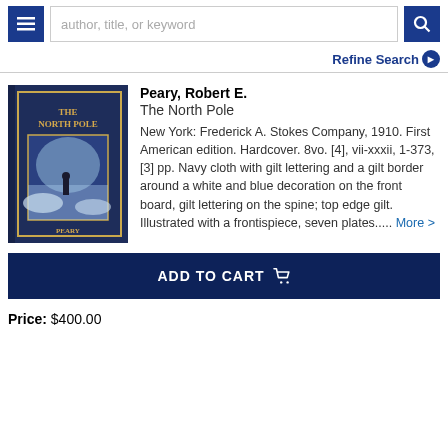author, title, or keyword
Refine Search
[Figure (photo): Book cover of 'The North Pole' by Peary — dark navy blue cloth binding with gilt lettering and a white/blue illustration depicting a figure in polar landscape on the front board]
Peary, Robert E.
The North Pole

New York: Frederick A. Stokes Company, 1910. First American edition. Hardcover. 8vo. [4], vii-xxxii, 1-373, [3] pp. Navy cloth with gilt lettering and a gilt border around a white and blue decoration on the front board, gilt lettering on the spine; top edge gilt. Illustrated with a frontispiece, seven plates..... More >
ADD TO CART
Price: $400.00